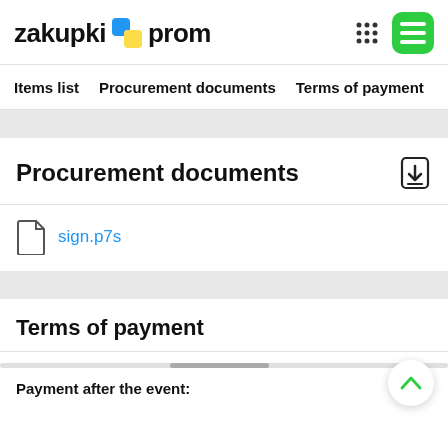zakupki prom
Items list   Procurement documents   Terms of payment
Procurement documents
sign.p7s
Terms of payment
Payment after the event: